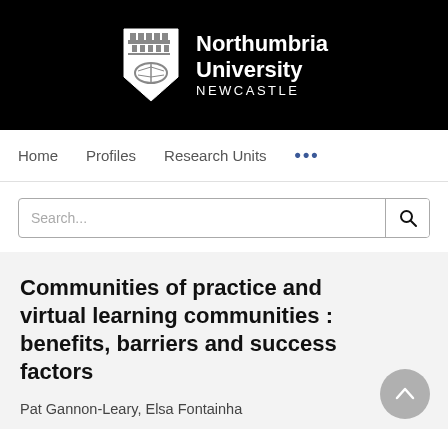[Figure (logo): Northumbria University Newcastle logo on black background — shield crest on left, university name and NEWCASTLE text on right in white]
Home   Profiles   Research Units   ...
Search...
Communities of practice and virtual learning communities : benefits, barriers and success factors
Pat Gannon-Leary, Elsa Fontainha